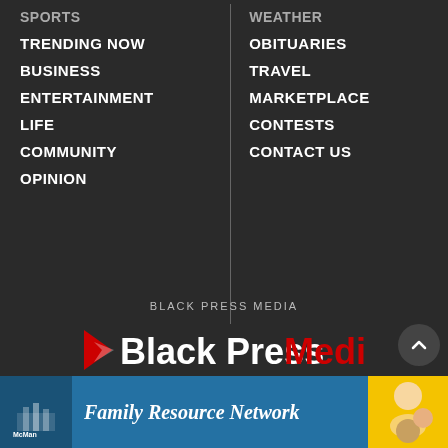SPORTS
WEATHER
TRENDING NOW
OBITUARIES
BUSINESS
TRAVEL
ENTERTAINMENT
MARKETPLACE
LIFE
CONTESTS
COMMUNITY
CONTACT US
OPINION
BLACK PRESS MEDIA
[Figure (logo): Black Press Media logo with red arrow/play icon on left, white bold 'Black Press' text and red 'Media' text]
Contact Us / Our Team / Privacy Policy / Terms of use / Site...
[Figure (infographic): McMan Family Resource Network advertisement banner with blue background, logo on left, italic white text 'Family Resource Network', and child photo on right]